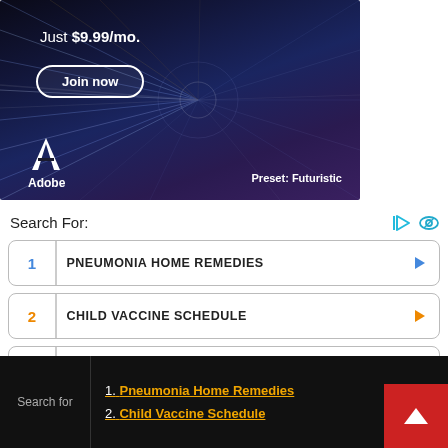[Figure (photo): Adobe advertisement banner showing 'Just $9.99/mo.' with a 'Join now' button, Adobe logo, and 'Preset: Futuristic' text on a dark high-speed tunnel/motion blur background]
Search For:
1 PNEUMONIA HOME REMEDIES
2 CHILD VACCINE SCHEDULE
3 TOP RATED EMAIL MARKETING SOFTWARE SYSTEM
4 TOP DIGITAL MARKETING SOFTWARE ONLINE
Search for
1. Pneumonia Home Remedies
2. Child Vaccine Schedule